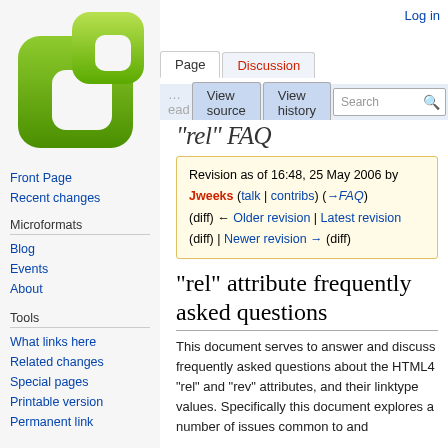[Figure (logo): Microformats wiki green logo - two overlapping rounded rectangles in green gradient]
Log in
Page | Discussion | View source | View history | Search
rel FAQ
Revision as of 16:48, 25 May 2006 by Jweeks (talk | contribs) (→FAQ)
(diff) ← Older revision | Latest revision (diff) | Newer revision → (diff)
Front Page
Recent changes
Microformats
Blog
Events
About
Tools
What links here
Related changes
Special pages
Printable version
Permanent link
"rel" attribute frequently asked questions
This document serves to answer and discuss frequently asked questions about the HTML4 "rel" and "rev" attributes, and their linktype values. Specifically this document explores a number of issues common to and